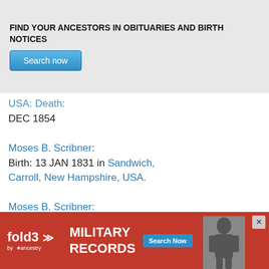FIND YOUR ANCESTORS IN OBITUARIES AND BIRTH NOTICES
[Figure (screenshot): Blue 'Search now' button on gray banner background]
USA: Death
DEC 1854
Moses B. Scribner:
Birth: 13 JAN 1831 in Sandwich, Carroll, New Hampshire, USA.
Moses B. Scribner:
Birth: 13 JAN 1831 in Sandwich, Carroll,
[Figure (infographic): Fold3 by Ancestry military records advertisement banner with red background, soldier photo, and Search Now button]